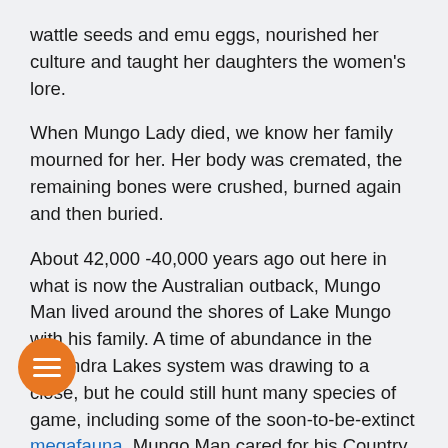wattle seeds and emu eggs, nourished her culture and taught her daughters the women's lore.
When Mungo Lady died, we know her family mourned for her. Her body was cremated, the remaining bones were crushed, burned again and then buried.
About 42,000 -40,000 years ago out here in what is now the Australian outback, Mungo Man lived around the shores of Lake Mungo with his family. A time of abundance in the Willandra Lakes system was drawing to a close, but he could still hunt many species of game, including some of the soon-to-be-extinct megafauna. Mungo Man cared for his Country and kept the special men's knowledge. By his lore and activity, he kept the land strong and his culture ali...
[Figure (other): Orange circular menu button with three white horizontal bars (hamburger icon)]